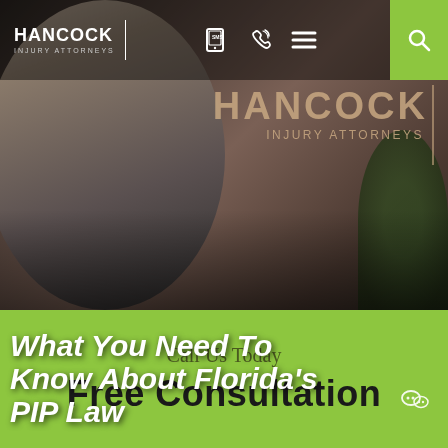[Figure (photo): Website screenshot of Hancock Injury Attorneys page showing a man in a suit smiling, with the Hancock Injury Attorneys sign visible in the background. Navigation header with logo, SMS, phone, menu, and search icons. Hero image with title overlay.]
HANCOCK | INJURY ATTORNEYS
What You Need To Know About Florida's PIP Law
Call Us Today
Free Consultation